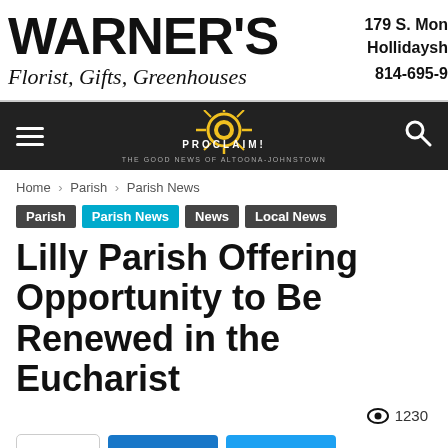[Figure (photo): Warner's Florist, Gifts, Greenhouses advertisement banner with address 179 S. Mon, Hollidaysh and phone 814-695-9]
[Figure (logo): PROCLAIM! The Good News of Altoona-Johnstown navigation bar logo with sunburst design, hamburger menu and search icon]
Home › Parish › Parish News
Parish   Parish News   News   Local News
Lilly Parish Offering Opportunity to Be Renewed in the Eucharist
👁 1230
[Figure (screenshot): Social share buttons: share icon button, Facebook (f) button in blue, Twitter bird button in light blue]
[Figure (photo): Partial bottom image strip showing beginning of an article photo]